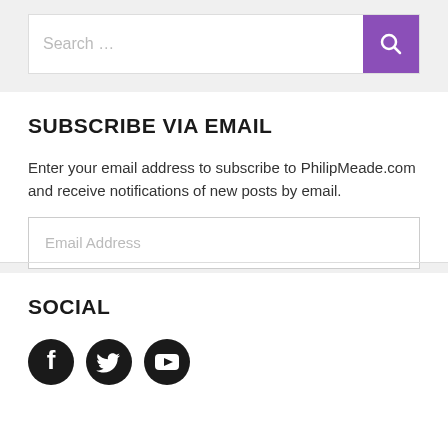[Figure (screenshot): Search bar with purple search button containing a magnifying glass icon]
SUBSCRIBE VIA EMAIL
Enter your email address to subscribe to PhilipMeade.com and receive notifications of new posts by email.
[Figure (screenshot): Email Address input field placeholder]
[Figure (screenshot): SUBSCRIBE button with dark rounded pill shape and purple border]
SOCIAL
[Figure (infographic): Social media icons: Facebook, Twitter, YouTube]